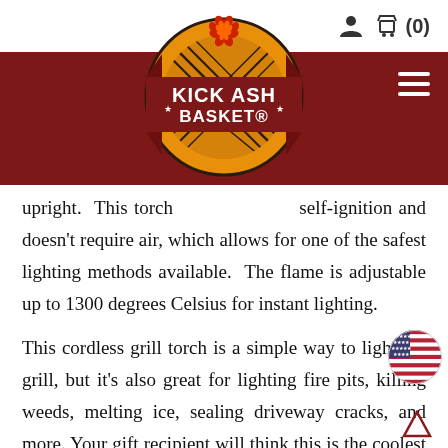Kick Ash Basket website header with logo and navigation
upright. This torch [logo overlay] self-ignition and doesn't require air, which allows for one of the safest lighting methods available. The flame is adjustable up to 1300 degrees Celsius for instant lighting.
This cordless grill torch is a simple way to light the grill, but it's also great for lighting fire pits, killing weeds, melting ice, sealing driveway cracks, and more. Your gift recipient will think this is the coolest (and hottest) gift they'll get all season—or